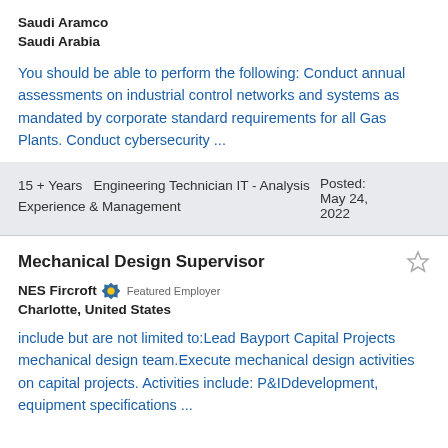Saudi Aramco
Saudi Arabia
You should be able to perform the following: Conduct annual assessments on industrial control networks and systems as mandated by corporate standard requirements for all Gas Plants. Conduct cybersecurity ...
15 + Years   Engineering Technician IT - Analysis Experience & Management
Posted: May 24, 2022
Mechanical Design Supervisor
NES Fircroft  Featured Employer
Charlotte, United States
include but are not limited to:Lead Bayport Capital Projects mechanical design team.Execute mechanical design activities on capital projects. Activities include: P&IDdevelopment, equipment specifications ...